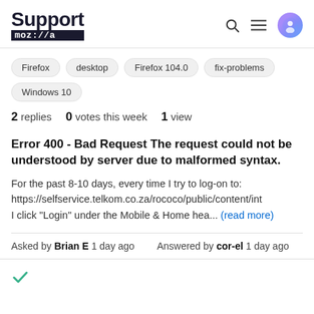Support moz://a
Firefox
desktop
Firefox 104.0
fix-problems
Windows 10
2 replies  0 votes this week  1 view
Error 400 - Bad Request The request could not be understood by server due to malformed syntax.
For the past 8-10 days, every time I try to log-on to: https://selfservice.telkom.co.za/rococo/public/content/int I click "Login" under the Mobile & Home hea... (read more)
Asked by Brian E 1 day ago    Answered by cor-el 1 day ago